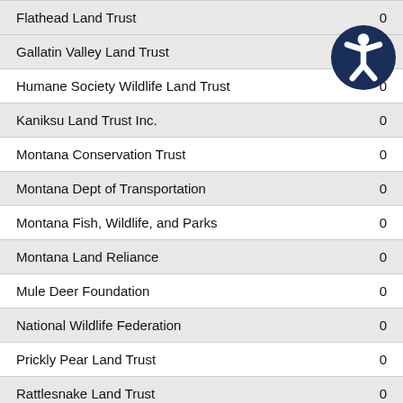| Organization | Value |
| --- | --- |
| Flathead Land Trust | 0 |
| Gallatin Valley Land Trust | 0 |
| Humane Society Wildlife Land Trust | 0 |
| Kaniksu Land Trust Inc. | 0 |
| Montana Conservation Trust | 0 |
| Montana Dept of Transportation | 0 |
| Montana Fish, Wildlife, and Parks | 0 |
| Montana Land Reliance | 0 |
| Mule Deer Foundation | 0 |
| National Wildlife Federation | 0 |
| Prickly Pear Land Trust | 0 |
| Rattlesnake Land Trust | 0 |
| Rocky Mountain Elk Foundation | 0 |